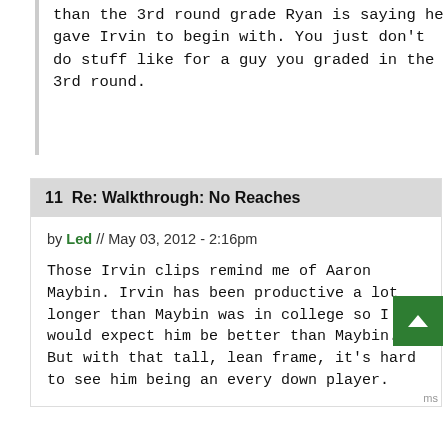than the 3rd round grade Ryan is saying he gave Irvin to begin with. You just don't do stuff like for a guy you graded in the 3rd round.
11  Re: Walkthrough: No Reaches
by Led // May 03, 2012 - 2:16pm
Those Irvin clips remind me of Aaron Maybin. Irvin has been productive a lot longer than Maybin was in college so I would expect him be better than Maybin. But with that tall, lean frame, it's hard to see him being an every down player.